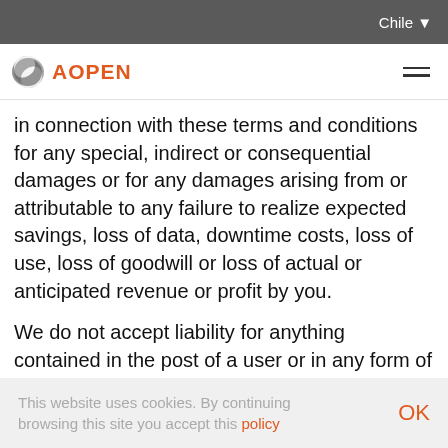Chile
[Figure (logo): AOPEN logo with circular icon and orange text]
in connection with these terms and conditions for any special, indirect or consequential damages or for any damages arising from or attributable to any failure to realize expected savings, loss of data, downtime costs, loss of use, loss of goodwill or loss of actual or anticipated revenue or profit by you.
We do not accept liability for anything contained in the post of a user or in any form of communication which originates with a user and not with Us.
We do not participate in any way in the transactions
This website uses cookies. By continuing browsing this site you accept this policy